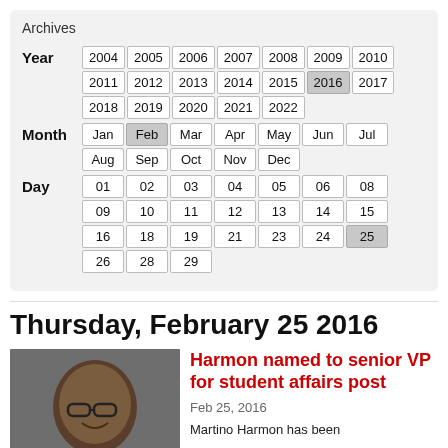Archives
| Year | 2004 | 2005 | 2006 | 2007 | 2008 | 2009 | 2010 | 2011 | 2012 | 2013 | 2014 | 2015 | 2016 | 2017 | 2018 | 2019 | 2020 | 2021 | 2022 |
| --- | --- | --- | --- | --- | --- | --- | --- | --- | --- | --- | --- | --- | --- | --- | --- | --- | --- | --- | --- |
| Month | Jan | Feb | Mar | Apr | May | Jun | Jul | Aug | Sep | Oct | Nov | Dec |
| Day | 01 | 02 | 03 | 04 | 05 | 06 | 08 | 09 | 10 | 11 | 12 | 13 | 14 | 15 | 16 | 18 | 19 | 21 | 23 | 24 | 25 | 26 | 28 | 29 |
Thursday, February 25 2016
[Figure (photo): Headshot photo of Martino Harmon, a man wearing glasses and a red tie, smiling]
Harmon named to senior VP for student affairs post
Feb 25, 2016
Martino Harmon has been